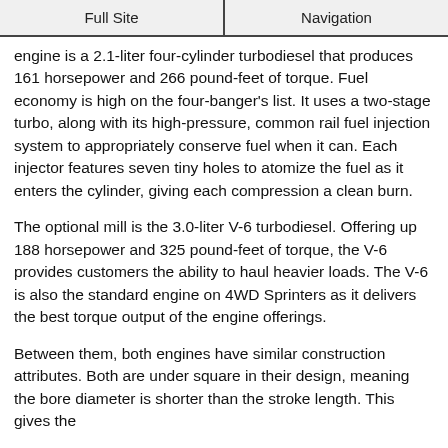Full Site | Navigation
engine is a 2.1-liter four-cylinder turbodiesel that produces 161 horsepower and 266 pound-feet of torque. Fuel economy is high on the four-banger's list. It uses a two-stage turbo, along with its high-pressure, common rail fuel injection system to appropriately conserve fuel when it can. Each injector features seven tiny holes to atomize the fuel as it enters the cylinder, giving each compression a clean burn.
The optional mill is the 3.0-liter V-6 turbodiesel. Offering up 188 horsepower and 325 pound-feet of torque, the V-6 provides customers the ability to haul heavier loads. The V-6 is also the standard engine on 4WD Sprinters as it delivers the best torque output of the engine offerings.
Between them, both engines have similar construction attributes. Both are under square in their design, meaning the bore diameter is shorter than the stroke length. This gives the engines the maximum allowance for their injectors. Both also...